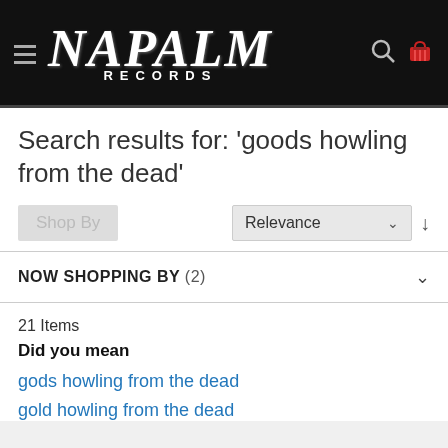[Figure (logo): Napalm Records logo with hamburger menu icon on black header, search icon and red shopping cart on right]
Search results for: 'goods howling from the dead'
Shop By | Relevance ↓
NOW SHOPPING BY (2)
21 Items
Did you mean
gods howling from the dead
gold howling from the dead